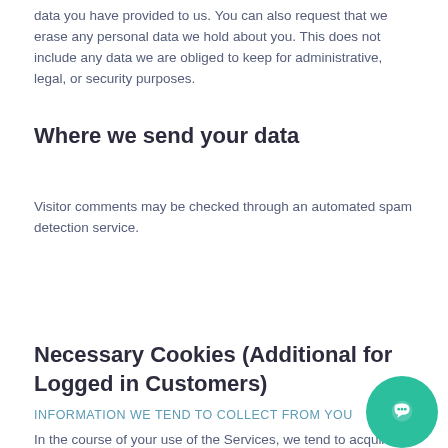data you have provided to us. You can also request that we erase any personal data we hold about you. This does not include any data we are obliged to keep for administrative, legal, or security purposes.
Where we send your data
Visitor comments may be checked through an automated spam detection service.
Necessary Cookies (Additional for Logged in Customers)
INFORMATION WE TEND TO COLLECT FROM YOU
In the course of your use of the Services, we tend to acquire subsequent info regarding you as represented below. we collect this information for the needs represented below “How we tend to Use Your Information”.